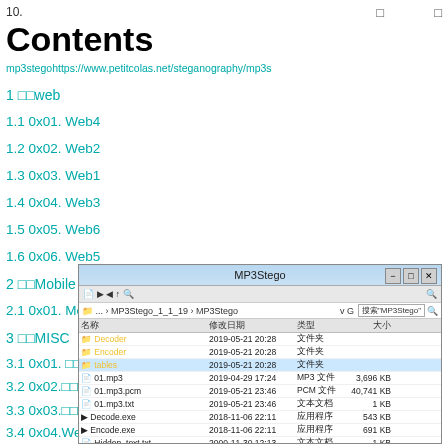10. □ □
Contents
mp3stego https://www.petitcolas.net/steganography/mp3s
1 □□Web
1.1 0x01. Web4
1.2 0x02. Web2
1.3 0x03. Web1
1.4 0x04. Web3
1.5 0x05. Web6
1.6 0x06. Web5
2 □□Mobile
2.1 0x01. Mobile01
3 □□MISC
3.1 0x01. □□□□□
3.2 0x02.□□□□□□□□□□□□□
3.3 0x03.□□□□□
3.4 0x04.Welcome
3.5 0x05.□□□
3.6 0x06.□□□□□Exe
3.7 □□□□□ Hi□□□
[Figure (screenshot): Windows Explorer window showing MP3Stego folder contents with files: Decoder, Encoder, tables (folders), 01.mp3, 01.mp3.pcm, 01.mp3.txt, Decode.exe, Encode.exe, Hidden_text.txt, MP3Stego.sh, README.txt, svega.wav]